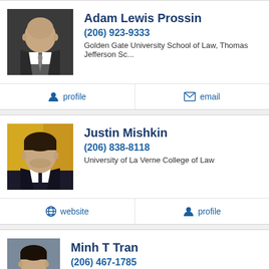[Figure (photo): Headshot of Adam Lewis Prossin, older bald man in dark suit]
Adam Lewis Prossin
(206) 923-9333
Golden Gate University School of Law, Thomas Jefferson Sc...
profile
email
[Figure (photo): Headshot of Justin Mishkin, young man with yellow/orange background]
Justin Mishkin
(206) 838-8118
University of La Verne College of Law
website
profile
[Figure (photo): Headshot of Minh T Tran, young man in dark suit]
Minh T Tran
(206) 467-1785
University of Washington School of Law and Michigan Stat...